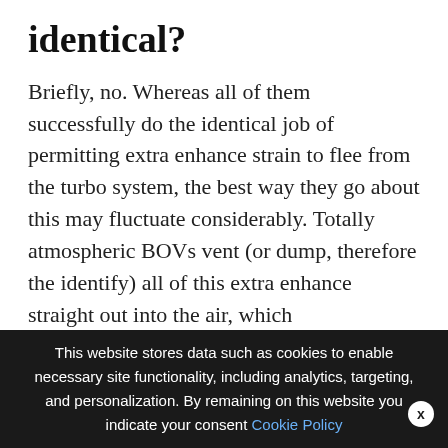identical?
Briefly, no. Whereas all of them successfully do the identical job of permitting extra enhance strain to flee from the turbo system, the best way they go about this may fluctuate considerably. Totally atmospheric BOVs vent (or dump, therefore the identify) all of this extra enhance straight out into the air, which
We use cookies on our website to give you the most relevant experience by remembering your preferences and repeat visits. By clicking “Accept All”, you consent to the use of ALL the controlled consent.
This website stores data such as cookies to enable necessary site functionality, including analytics, targeting, and personalization. By remaining on this website you indicate your consent Cookie Policy